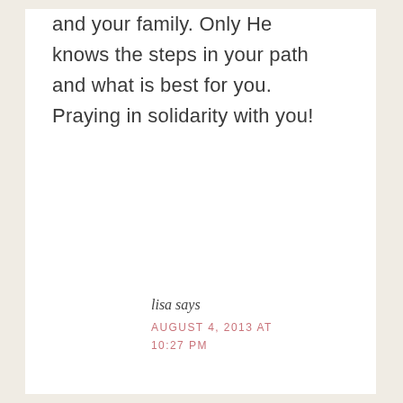and your family. Only He knows the steps in your path and what is best for you. Praying in solidarity with you!
lisa says
AUGUST 4, 2013 AT 10:27 PM